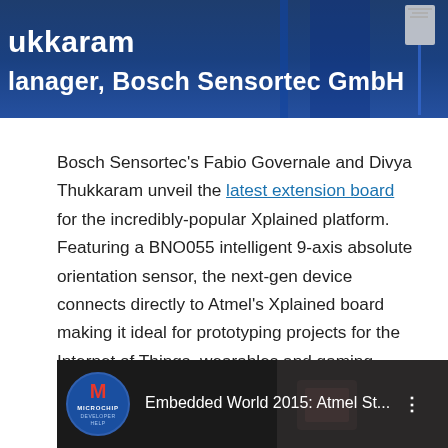[Figure (photo): Partial photo showing a speaker name 'ukkaram' and title 'lanager, Bosch Sensortec GmbH' in white bold text on a blue background with a badge/lanyard visible]
Bosch Sensortec's Fabio Governale and Divya Thukkaram unveil the latest extension board for the incredibly-popular Xplained platform. Featuring a BNO055 intelligent 9-axis absolute orientation sensor, the next-gen device connects directly to Atmel's Xplained board making it ideal for prototyping projects for the Internet of Things, wearables and gaming markets, as well as for applications like personal health and fitness, indoor navigation, and others requiring context awareness and augmented reality for a more immersive experience.
[Figure (screenshot): Video thumbnail for 'Embedded World 2015: Atmel St...' featuring Microchip Developer Help logo (blue circle with red M) on dark background]